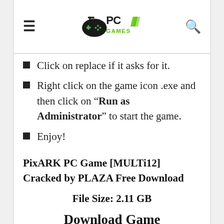PC Games logo header with hamburger menu and search icon
Click on replace if it asks for it.
Right click on the game icon .exe and then click on “Run as Administrator” to start the game.
Enjoy!
PixARK PC Game [MULTi12] Cracked by PLAZA Free Download
File Size: 2.11 GB
Download Game
Download Link